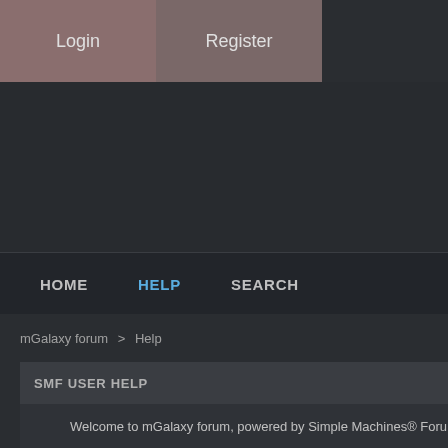Login  Register
[Figure (other): Banner advertisement area, dark background]
HOME  HELP  SEARCH
mGalaxy forum > Help
SMF USER HELP
Welcome to mGalaxy forum, powered by Simple Machines® Foru